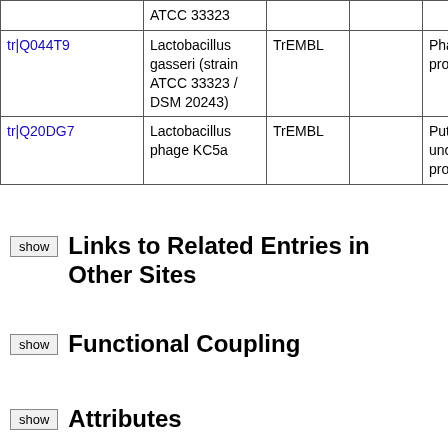|  | Organism | Database |  | Description |
| --- | --- | --- | --- | --- |
|  | ATCC 33323 | TrEMBL |  |  |
| tr|Q044T9 | Lactobacillus gasseri (strain ATCC 33323 / DSM 20243) | TrEMBL |  | Phage related protein |
| tr|Q20DG7 | Lactobacillus phage KC5a | TrEMBL |  | Putative uncharacterized protein orf6 |
Links to Related Entries in Other Sites
Functional Coupling
Attributes